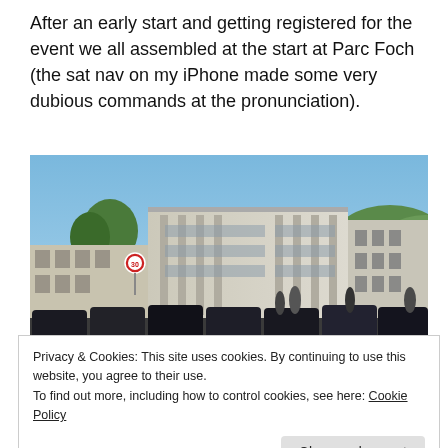After an early start and getting registered for the event we all assembled at the start at Parc Foch (the sat nav on my iPhone made some very dubious commands at the pronunciation).
[Figure (photo): Outdoor photo of a modern multi-storey building (Parc Foch) with a car park in the foreground filled with dark cars, trees on the left, and hills in the background under a blue sky.]
Privacy & Cookies: This site uses cookies. By continuing to use this website, you agree to their use.
To find out more, including how to control cookies, see here: Cookie Policy